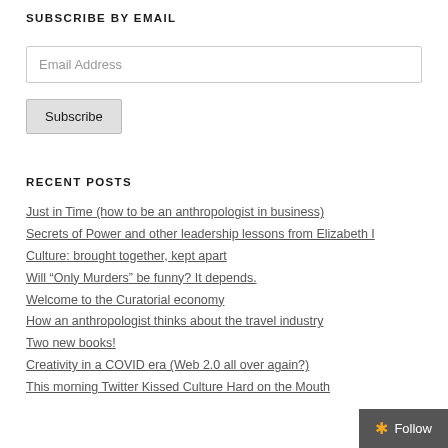SUBSCRIBE BY EMAIL
Email Address
Subscribe
RECENT POSTS
Just in Time (how to be an anthropologist in business)
Secrets of Power and other leadership lessons from Elizabeth I
Culture: brought together, kept apart
Will “Only Murders” be funny? It depends.
Welcome to the Curatorial economy
How an anthropologist thinks about the travel industry
Two new books!
Creativity in a COVID era (Web 2.0 all over again?)
This morning Twitter Kissed Culture Hard on the Mouth
Follow